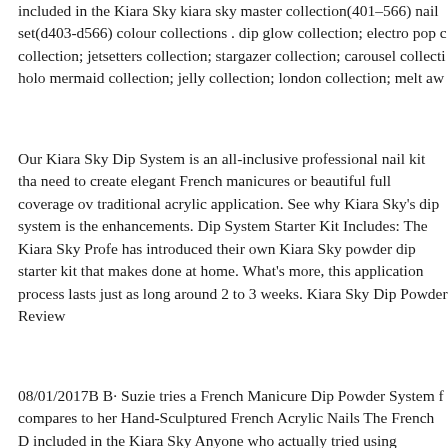included in the Kiara Sky kiara sky master collection(401–566) nail set(d403-d566) colour collections . dip glow collection; electro pop collection; jetsetters collection; stargazer collection; carousel collection; holo mermaid collection; jelly collection; london collection; melt aw
Our Kiara Sky Dip System is an all-inclusive professional nail kit tha need to create elegant French manicures or beautiful full coverage traditional acrylic application. See why Kiara Sky's dip system is the enhancements. Dip System Starter Kit Includes: The Kiara Sky Profe has introduced their own Kiara Sky powder dip starter kit that makes done at home. What's more, this application process lasts just as long around 2 to 3 weeks. Kiara Sky Dip Powder Review
08/01/2017B B· Suzie tries a French Manicure Dip Powder System f compares to her Hand-Sculptured French Acrylic Nails The French D included in the Kiara Sky Anyone who actually tried using dipping p having a brush saver in any dip powder kit is a must. Kiara SkyвЂ™ will save you money on buying new application brushes for your bas the Kiara Sky nail dipping powder вЂ¦